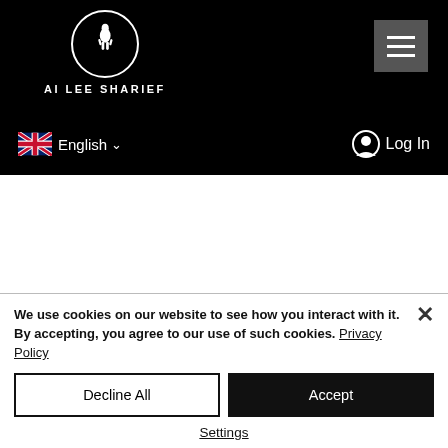[Figure (screenshot): Website navigation bar with black background, logo circle with horse/figure, text 'AI LEE SHARIEF', hamburger menu button, UK flag, English language selector, and Log In link]
ends' y also d as
essed by us to create a user account with the necessary data, if you have given Google permission to use that data (title, first name, surname, address data, country, e-mail address, date of birth). Conversely, we may transfer
We use cookies on our website to see how you interact with it. By accepting, you agree to our use of such cookies. Privacy Policy
Decline All
Accept
Settings